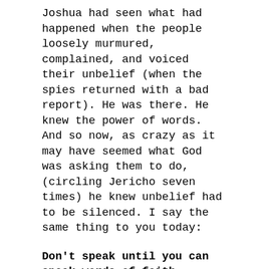Joshua had seen what had happened when the people loosely murmured, complained, and voiced their unbelief (when the spies returned with a bad report). He was there. He knew the power of words. And so now, as crazy as it may have seemed what God was asking them to do, (circling Jericho seven times) he knew unbelief had to be silenced. I say the same thing to you today:
Don't speak until you can speak words of faith.
And don't wait until you “feel like it” either. Stir yourself up in the Spirit. Pray. Get on your knees and get before the Lord. Don't go talking